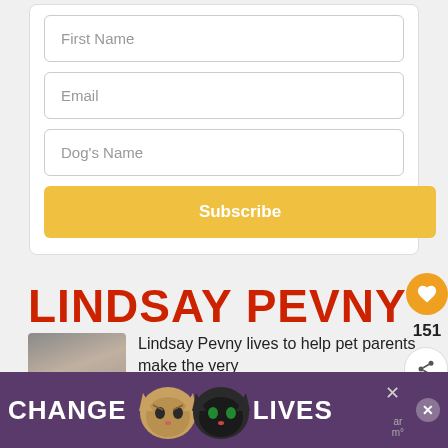[Figure (screenshot): Web page screenshot showing a subscription form with First Name, Email, Dog's Name fields and a Subscribe button, followed by an author section for Lindsay Pevny with a red header, author photo, bio text, social buttons, and an ad banner at the bottom.]
First Name
Email
Dog's Name
Subscribe
LINDSAY PEVNY
Lindsay Pevny lives to help pet parents make the very
CHANGE LIVES